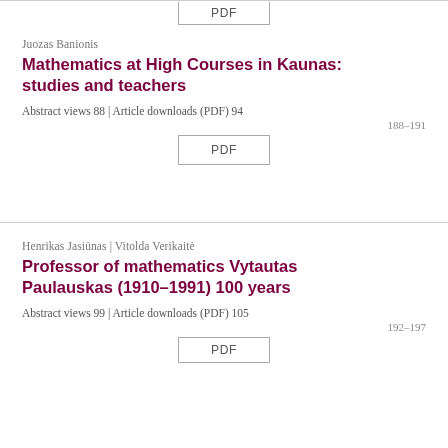[Figure (other): PDF button (partial, top of page)]
Juozas Banionis
Mathematics at High Courses in Kaunas: studies and teachers
Abstract views 88 | Article downloads (PDF) 94
188–191
[Figure (other): PDF button]
Henrikas Jasiūnas | Vitolda Verikaitė
Professor of mathematics Vytautas Paulauskas (1910–1991) 100 years
Abstract views 99 | Article downloads (PDF) 105
192–197
[Figure (other): PDF button (partial, bottom of page)]